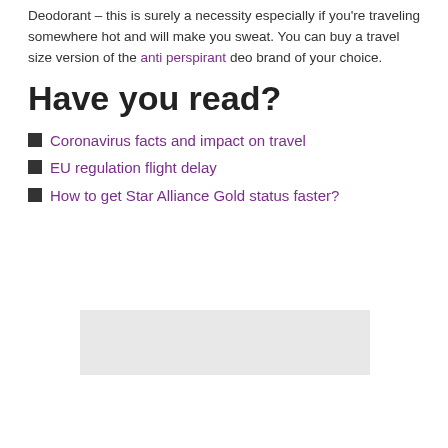Deodorant – this is surely a necessity especially if you're traveling somewhere hot and will make you sweat. You can buy a travel size version of the anti perspirant deo brand of your choice.
Have you read?
Coronavirus facts and impact on travel
EU regulation flight delay
How to get Star Alliance Gold status faster?
[Figure (other): Gray advertisement or image placeholder box]